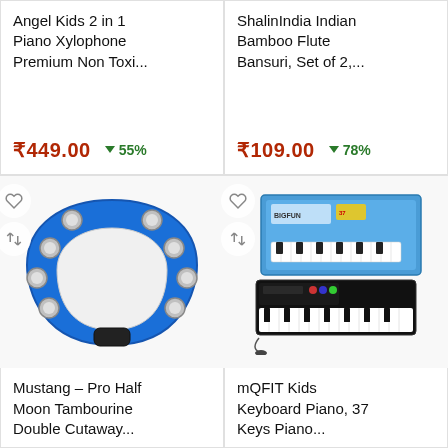Angel Kids 2 in 1 Piano Xylophone Premium Non Toxi...
₹449.00  ↓ 55%
ShalinIndia Indian Bamboo Flute Bansuri, Set of 2,...
₹109.00  ↓ 78%
[Figure (photo): Blue half-moon tambourine with silver jingles]
Mustang – Pro Half Moon Tambourine Double Cutaway...
[Figure (photo): mQFIT kids keyboard piano 37 keys with microphone and box]
mQFIT Kids Keyboard Piano, 37 Keys Piano...